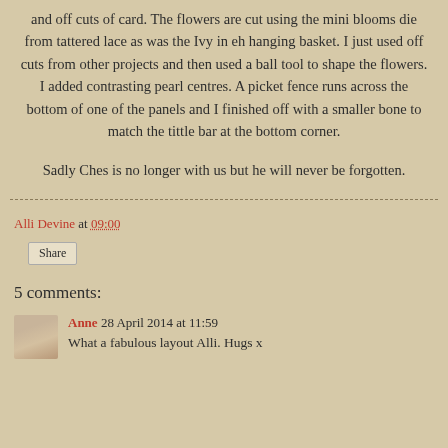and off cuts of card. The flowers are cut using the mini blooms die from tattered lace as was the Ivy in eh hanging basket. I just used off cuts from other projects and then used a ball tool to shape the flowers. I added contrasting pearl centres. A picket fence runs across the bottom of one of the panels and I finished off with a smaller bone to match the tittle bar at the bottom corner.
Sadly Ches is no longer with us but he will never be forgotten.
Alli Devine at 09:00
Share
5 comments:
Anne 28 April 2014 at 11:59
What a fabulous layout Alli. Hugs x